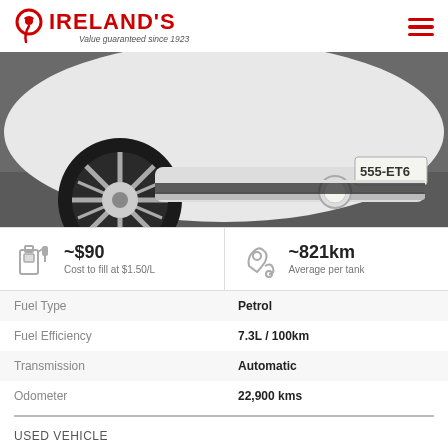[Figure (logo): Ireland's car dealership logo with red circular icon and text 'IRELAND'S Value guaranteed since 1923']
[Figure (photo): Close-up front-left view of a white SUV/crossover vehicle showing wheel, bumper, fog light, and license plate 555-ET6]
~$90 Cost to fill at $1.50/L
~821km Average per tank
|  |  |
| --- | --- |
| Fuel Type | Petrol |
| Fuel Efficiency | 7.3L / 100km |
| Transmission | Automatic |
| Odometer | 22,900 kms |
USED VEHICLE
$45,990